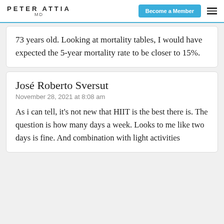PETER ATTIA MD
73 years old. Looking at mortality tables, I would have expected the 5-year mortality rate to be closer to 15%.
José Roberto Sversut
November 28, 2021 at 8:08 am
As i can tell, it's not new that HIIT is the best there is. The question is how many days a week. Looks to me like two days is fine. And combination with light activities